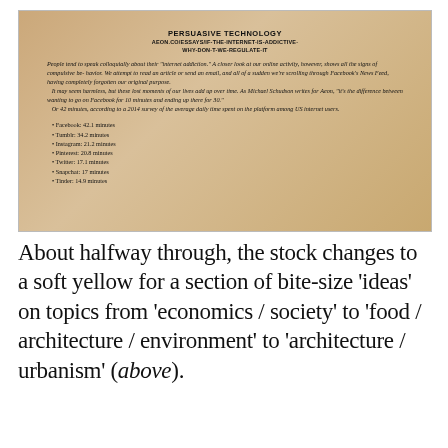[Figure (photo): A photograph of a printed book page showing the heading 'PERSUASIVE TECHNOLOGY' with URL 'AEON.CO/ESSAYS/IF-THE-INTERNET-IS-ADDICTIVE-WHY-DON-T-WE-REGULATE-IT', followed by italic body text about internet addiction and compulsive behavior, and a bullet list of average daily time spent on social media platforms: Facebook 42.1 minutes, Tumblr 34.2 minutes, Instagram 21.2 minutes, Pinterest 20.8 minutes, Twitter 17.1 minutes, Snapchat 17 minutes, Tinder 14.9 minutes.]
About halfway through, the stock changes to a soft yellow for a section of bite-size 'ideas' on topics from 'economics / society' to 'food / architecture / environment' to 'architecture / urbanism' (above).